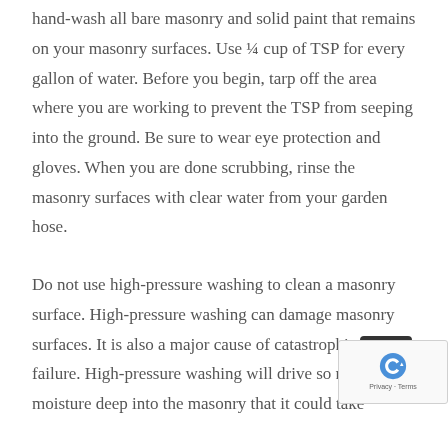hand-wash all bare masonry and solid paint that remains on your masonry surfaces. Use ¼ cup of TSP for every gallon of water. Before you begin, tarp off the area where you are working to prevent the TSP from seeping into the ground. Be sure to wear eye protection and gloves. When you are done scrubbing, rinse the masonry surfaces with clear water from your garden hose.
Do not use high-pressure washing to clean a masonry surface. High-pressure washing can damage masonry surfaces. It is also a major cause of catastrophic paint failure. High-pressure washing will drive so much moisture deep into the masonry that it could take